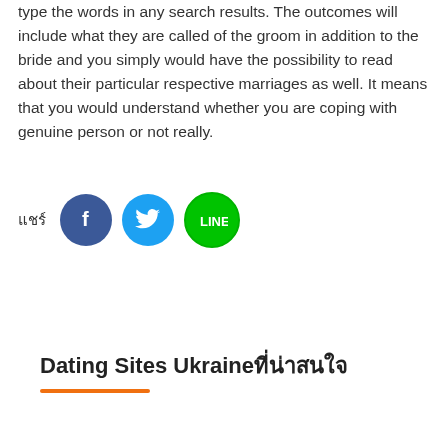type the words in any search results. The outcomes will include what they are called of the groom in addition to the bride and you simply would have the possibility to read about their particular respective marriages as well. It means that you would understand whether you are coping with genuine person or not really.
แชร์
[Figure (infographic): Social share buttons: Facebook (blue circle with f), Twitter (light blue circle with bird), LINE (green circle with LINE logo)]
Dating Sites Ukraineที่น่าสนใจ